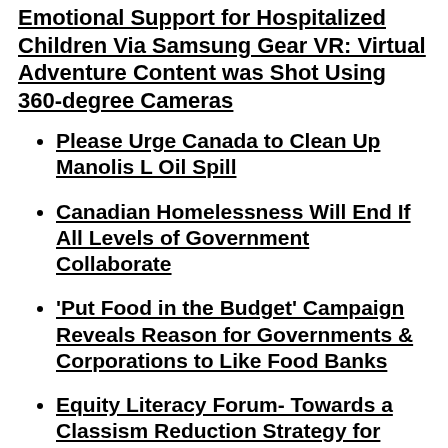Emotional Support for Hospitalized Children Via Samsung Gear VR: Virtual Adventure Content was Shot Using 360-degree Cameras
Please Urge Canada to Clean Up Manolis L Oil Spill
Canadian Homelessness Will End If All Levels of Government Collaborate
'Put Food in the Budget' Campaign Reveals Reason for Governments & Corporations to Like Food Banks
Equity Literacy Forum- Towards a Classism Reduction Strategy for Ontario